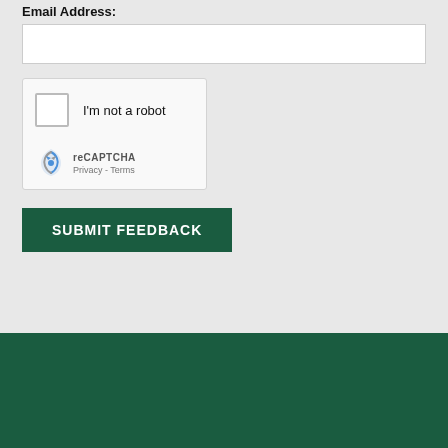Email Address:
[Figure (screenshot): reCAPTCHA widget with checkbox labeled 'I'm not a robot', reCAPTCHA logo, Privacy and Terms links]
SUBMIT FEEDBACK